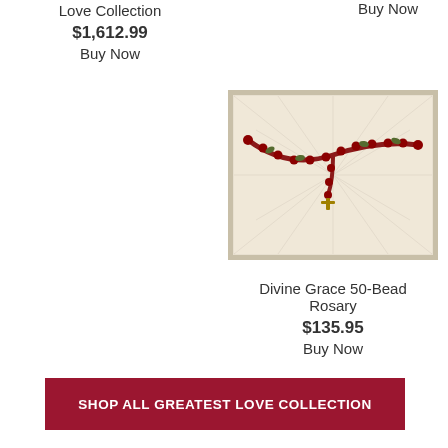Love Collection
$1,612.99
Buy Now
Buy Now
[Figure (photo): Open casket interior showing cream/white pleated satin lining decorated with a red rose bead garland/rosary draped across the interior, with a central ornament.]
Divine Grace 50-Bead Rosary
$135.95
Buy Now
SHOP ALL GREATEST LOVE COLLECTION